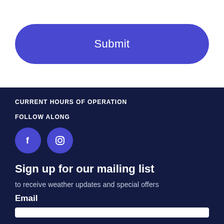[Figure (other): Submit button — large rounded rectangle with blue background and white text 'Submit']
CURRENT HOURS OF OPERATION
FOLLOW ALONG
[Figure (other): Social media icons: Facebook (f) and Instagram camera icon, both in blue circles]
Sign up for our mailing list
to receive weather updates and special offers
Email